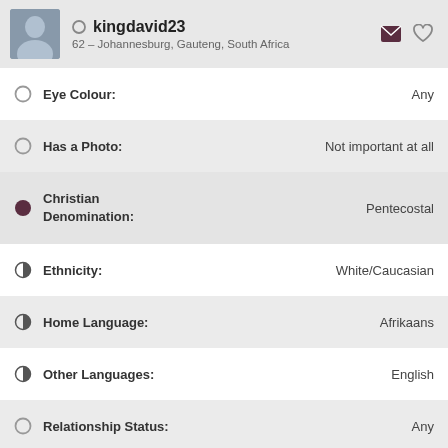kingdavid23 — 62 – Johannesburg, Gauteng, South Africa
Eye Colour: Any
Has a Photo: Not important at all
Christian Denomination: Pentecostal
Ethnicity: White/Caucasian
Home Language: Afrikaans
Other Languages: English
Relationship Status: Any